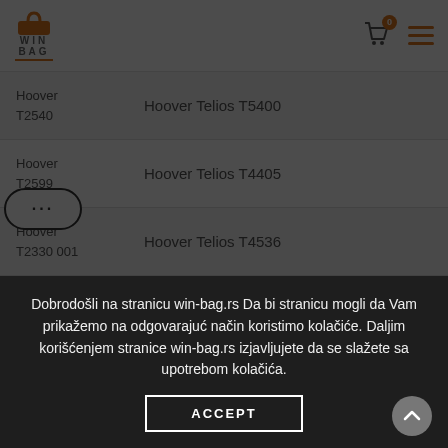[Figure (logo): WinBag logo with orange shopping bag icon and orange underline]
Hoover T2540
Hoover Telios T5400
Hoover T2599
Hoover Telios T4405
Hoover T2330 001
Hoover Telios T4536
Hoover T2211 011
Hoover Telios 3520
Dobrodošli na stranicu win-bag.rs Da bi stranicu mogli da Vam prikažemo na odgovarajuć način koristimo kolačiće. Daljim korišćenjem stranice win-bag.rs izjavljujete da se slažete sa upotrebom kolačića.
ACCEPT